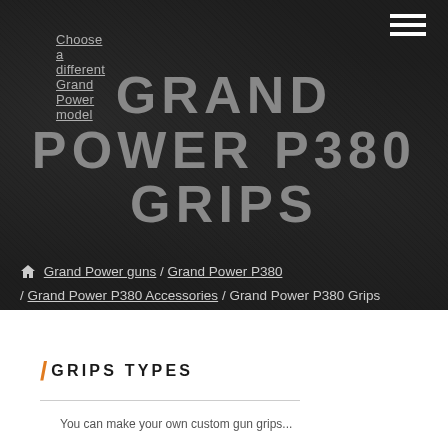Choose a different Grand Power model
GRAND POWER P380 GRIPS
🏠 Grand Power guns / Grand Power P380 / Grand Power P380 Accessories / Grand Power P380 Grips
/ GRIPS TYPES